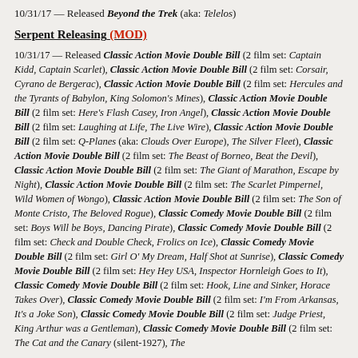10/31/17 — Released Beyond the Trek (aka: Telelos)
Serpent Releasing (MOD)
10/31/17 — Released Classic Action Movie Double Bill (2 film set: Captain Kidd, Captain Scarlet), Classic Action Movie Double Bill (2 film set: Corsair, Cyrano de Bergerac), Classic Action Movie Double Bill (2 film set: Hercules and the Tyrants of Babylon, King Solomon's Mines), Classic Action Movie Double Bill (2 film set: Here's Flash Casey, Iron Angel), Classic Action Movie Double Bill (2 film set: Laughing at Life, The Live Wire), Classic Action Movie Double Bill (2 film set: Q-Planes (aka: Clouds Over Europe), The Silver Fleet), Classic Action Movie Double Bill (2 film set: The Beast of Borneo, Beat the Devil), Classic Action Movie Double Bill (2 film set: The Giant of Marathon, Escape by Night), Classic Action Movie Double Bill (2 film set: The Scarlet Pimpernel, Wild Women of Wongo), Classic Action Movie Double Bill (2 film set: The Son of Monte Cristo, The Beloved Rogue), Classic Comedy Movie Double Bill (2 film set: Boys Will be Boys, Dancing Pirate), Classic Comedy Movie Double Bill (2 film set: Check and Double Check, Frolics on Ice), Classic Comedy Movie Double Bill (2 film set: Girl O' My Dream, Half Shot at Sunrise), Classic Comedy Movie Double Bill (2 film set: Hey Hey USA, Inspector Hornleigh Goes to It), Classic Comedy Movie Double Bill (2 film set: Hook, Line and Sinker, Horace Takes Over), Classic Comedy Movie Double Bill (2 film set: I'm From Arkansas, It's a Joke Son), Classic Comedy Movie Double Bill (2 film set: Judge Priest, King Arthur was a Gentleman), Classic Comedy Movie Double Bill (2 film set: The Cat and the Canary (silent-1927), The